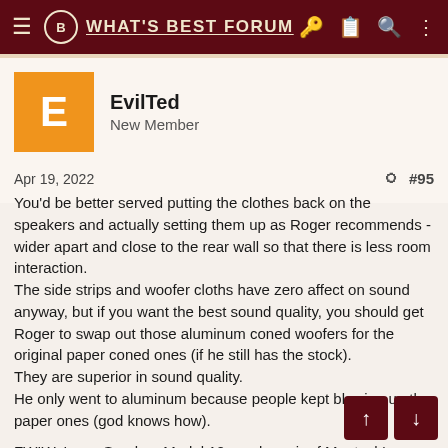WHAT'S BEST FORUM
EvilTed
New Member
Apr 19, 2022  #95
You'd be better served putting the clothes back on the speakers and actually setting them up as Roger recommends - wider apart and close to the rear wall so that there is less room interaction.
The side strips and woofer cloths have zero affect on sound anyway, but if you want the best sound quality, you should get Roger to swap out those aluminum coned woofers for the original paper coned ones (if he still has the stock).
They are superior in sound quality.
He only went to aluminum because people kept blowing up the paper ones (god knows how).

FWIW, I own Sanders Model 10e and a pair of Magtech's.
I owned my first InnerSound speakers in 2002 and have u... de... every time but stayed with Roger, because in my opinion he makes